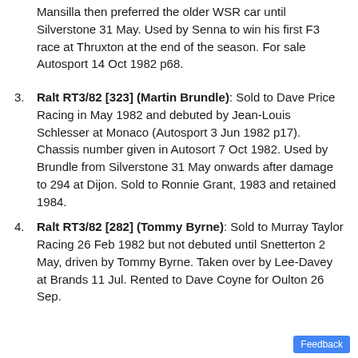Mansilla then preferred the older WSR car until Silverstone 31 May. Used by Senna to win his first F3 race at Thruxton at the end of the season. For sale Autosport 14 Oct 1982 p68.
Ralt RT3/82 [323] (Martin Brundle): Sold to Dave Price Racing in May 1982 and debuted by Jean-Louis Schlesser at Monaco (Autosport 3 Jun 1982 p17). Chassis number given in Autosort 7 Oct 1982. Used by Brundle from Silverstone 31 May onwards after damage to 294 at Dijon. Sold to Ronnie Grant, 1983 and retained 1984.
Ralt RT3/82 [282] (Tommy Byrne): Sold to Murray Taylor Racing 26 Feb 1982 but not debuted until Snetterton 2 May, driven by Tommy Byrne. Taken over by Lee-Davey at Brands 11 Jul. Rented to Dave Coyne for Oulton 26 Sep.